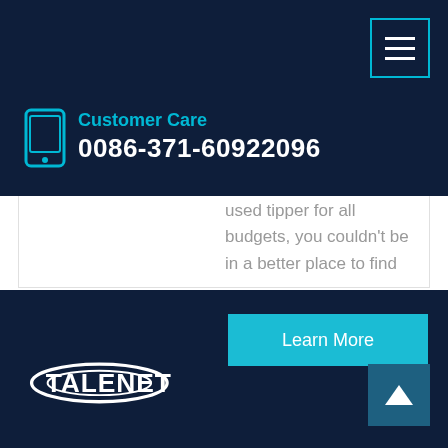Customer Care 0086-371-60922096
used tipper for all budgets, you couldn't be in a better place to find
Learn More
[Figure (logo): Talenet company logo in white on dark navy background]
Talenet